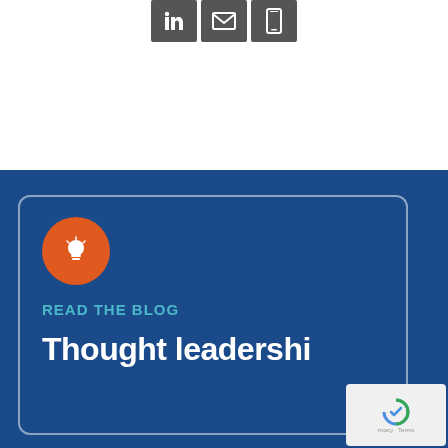[Figure (other): Social media icons: LinkedIn, email/envelope, phone/mobile — dark grey square buttons]
[Figure (illustration): Orange circle with white lightbulb icon]
READ THE BLOG
Thought leadershi